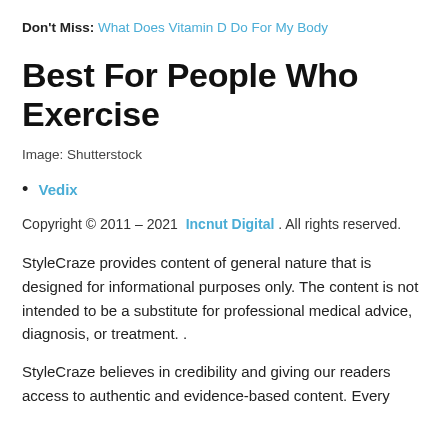Don't Miss: What Does Vitamin D Do For My Body
Best For People Who Exercise
Image: Shutterstock
Vedix
Copyright © 2011 – 2021 Incnut Digital . All rights reserved.
StyleCraze provides content of general nature that is designed for informational purposes only. The content is not intended to be a substitute for professional medical advice, diagnosis, or treatment. .
StyleCraze believes in credibility and giving our readers access to authentic and evidence-based content. Every